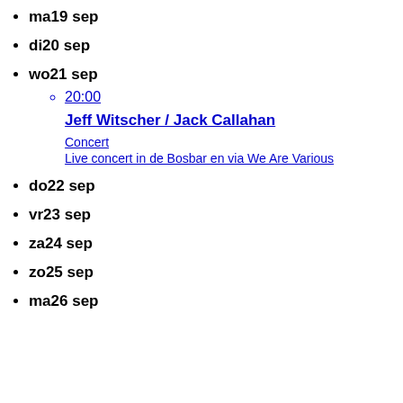ma19 sep
di20 sep
wo21 sep
20:00
Jeff Witscher / Jack Callahan
Concert
Live concert in de Bosbar en via We Are Various
do22 sep
vr23 sep
za24 sep
zo25 sep
ma26 sep